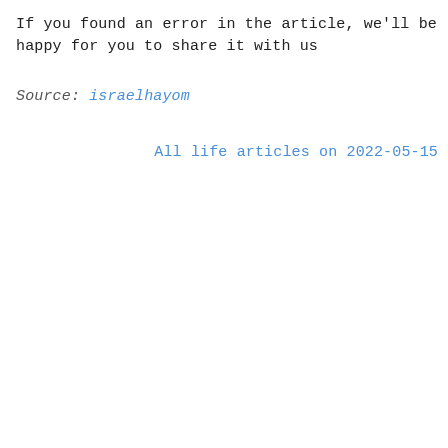If you found an error in the article, we'll be happy for you to share it with us
Source: israelhayom
All life articles on 2022-05-15